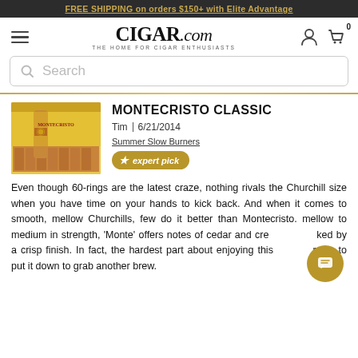FREE SHIPPING on orders $150+ with Elite Advantage
[Figure (logo): CIGAR.com logo with tagline THE HOME FOR CIGAR ENTHUSIASTS]
Search
[Figure (photo): Montecristo cigar box opened showing cigars with yellow packaging]
MONTECRISTO CLASSIC
Tim | 6/21/2014
Summer Slow Burners
expert pick
Even though 60-rings are the latest craze, nothing rivals the Churchill size when you have time on your hands to kick back. And when it comes to smooth, mellow Churchills, few do it better than Montecristo. mellow to medium in strength, ‘Monte’ offers notes of cedar and cre…ked by a crisp finish. In fact, the hardest part about enjoying this…rying to put it down to grab another brew.